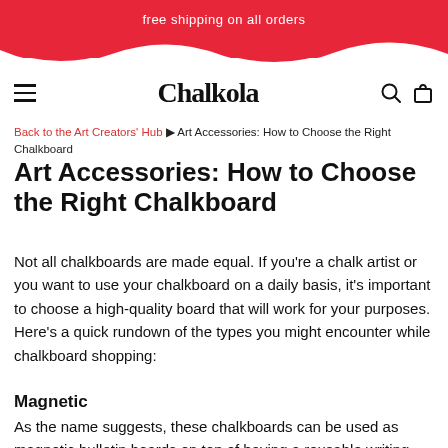free shipping on all orders
Chalkola [logo] navigation
Back to the Art Creators' Hub ▶ Art Accessories: How to Choose the Right Chalkboard
Art Accessories: How to Choose the Right Chalkboard
Not all chalkboards are made equal. If you're a chalk artist or you want to use your chalkboard on a daily basis, it's important to choose a high-quality board that will work for your purposes. Here's a quick rundown of the types you might encounter while chalkboard shopping:
Magnetic
As the name suggests, these chalkboards can be used as magnetic bulletin boards on top of having a reusable writing surface. They can be made from